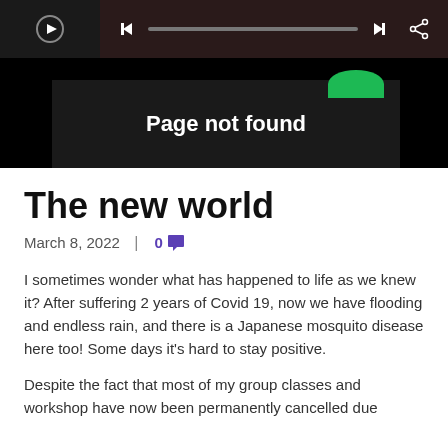[Figure (screenshot): Screenshot of a music player bar with skip buttons, progress bar, and share icon on a dark brown background, with a person image on the left.]
[Figure (screenshot): Dark box showing 'Page not found' text in white with a green Spotify-like logo semi-circle above it.]
The new world
March 8, 2022  |  0 💬
I sometimes wonder what has happened to life as we knew it? After suffering 2 years of Covid 19, now we have flooding and endless rain, and there is a Japanese mosquito disease here too! Some days it's hard to stay positive.
Despite the fact that most of my group classes and workshop have now been permanently cancelled due